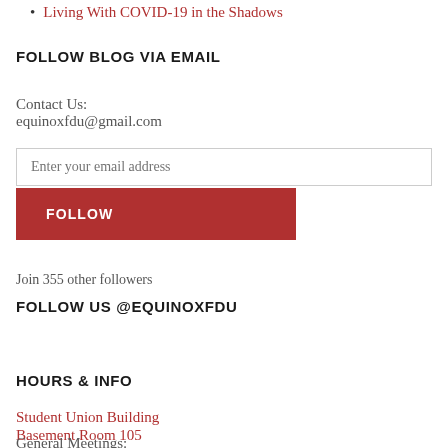Living With COVID-19 in the Shadows
FOLLOW BLOG VIA EMAIL
Contact Us:
equinoxfdu@gmail.com
Enter your email address
FOLLOW
Join 355 other followers
FOLLOW US @EQUINOXFDU
HOURS & INFO
Student Union Building
Basement Room 105
General Meetings: